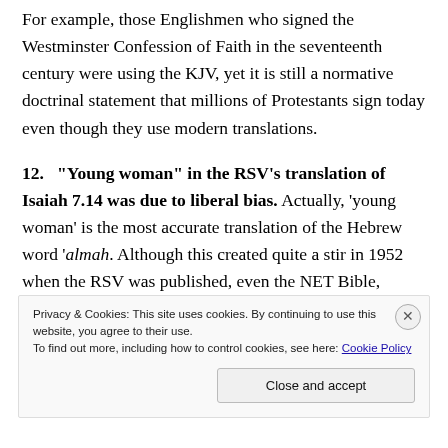For example, those Englishmen who signed the Westminster Confession of Faith in the seventeenth century were using the KJV, yet it is still a normative doctrinal statement that millions of Protestants sign today even though they use modern translations.
12. "Young woman" in the RSV's translation of Isaiah 7.14 was due to liberal bias. Actually, 'young woman' is the most accurate translation of the Hebrew word 'almah. Although this created quite a stir in 1952 when the RSV was published, even the NET Bible,
Privacy & Cookies: This site uses cookies. By continuing to use this website, you agree to their use.
To find out more, including how to control cookies, see here: Cookie Policy
Close and accept